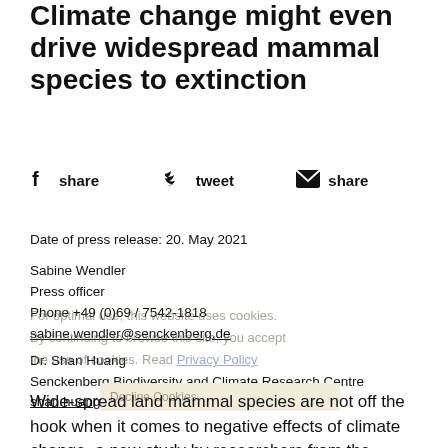Climate change might even drive widespread mammal species to extinction
[Figure (infographic): Social share buttons row: Facebook share, Twitter tweet, Email share]
Date of press release: 20. May 2021
Sabine Wendler
Press officer
Phone +49 (0)69 / 7542-1818
sabine.wendler@senckenberg.de
Dr. Shan Huang
Senckenberg Biodiversity and Climate Research Centre
shan.huang@senckenberg.de
Wide-spread land mammal species are not off the hook when it comes to negative effects of climate change, a new study by researchers from the